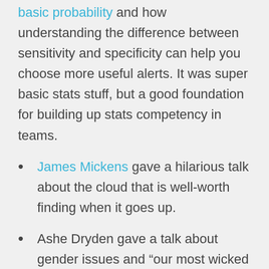basic probability and how understanding the difference between sensitivity and specificity can help you choose more useful alerts. It was super basic stats stuff, but a good foundation for building up stats competency in teams.
James Mickens gave a hilarious talk about the cloud that is well-worth finding when it goes up.
Ashe Dryden gave a talk about gender issues and “our most wicked problem”. It was very well-received by the audience, which was gratifying for me personally. I think the audience walked